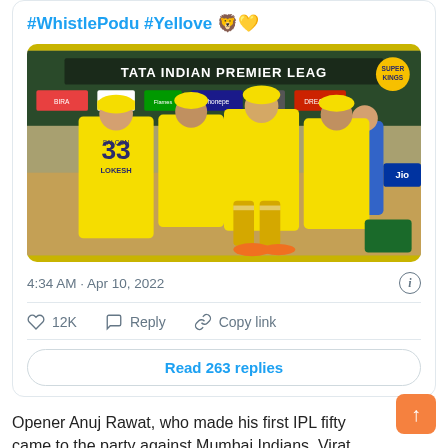#WhistlePodu #Yellove 🦁💛
[Figure (photo): CSK players in yellow uniforms at TATA Indian Premier League venue, one player wearing number 33 with LOKESH on the back, others in batting pads; stadium signage visible in background]
4:34 AM · Apr 10, 2022
12K  Reply  Copy link
Read 263 replies
Opener Anuj Rawat, who made his first IPL fifty came to the party against Mumbai Indians, Virat